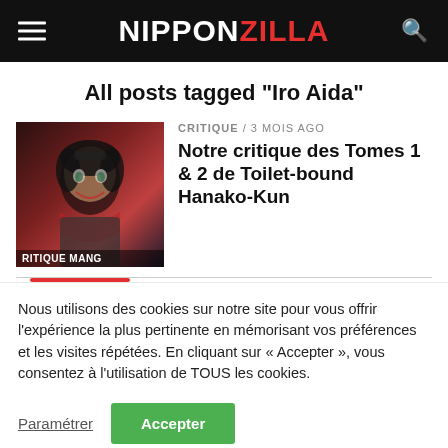NIPPONZILLA
All posts tagged "Iro Aida"
[Figure (photo): Manga thumbnail image for Toilet-bound Hanako-Kun with label RITIQUE MANG]
CRITIQUE / 3 mois ago
Notre critique des Tomes 1 & 2 de Toilet-bound Hanako-Kun
Nous utilisons des cookies sur notre site pour vous offrir l'expérience la plus pertinente en mémorisant vos préférences et les visites répétées. En cliquant sur « Accepter », vous consentez à l'utilisation de TOUS les cookies.
Paramétrer   Accepter